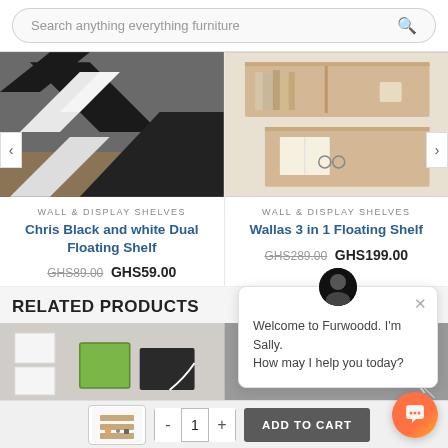[Figure (screenshot): Search bar with placeholder text 'Search anything everything furniture' and a search icon]
[Figure (photo): Black and white geometric dual floating shelf product photo]
[Figure (photo): Light wood 3-in-1 wall floating shelf with books and items]
WALL & DISPLAY SHELVES
Chris Black and white Dual Floating Shelf
GHS89.00  GHS59.00
WALL & DISPLAY SHELVES
Wallas 3 in 1 Floating Shelf
GHS289.00  GHS199.00
RELATED PRODUCTS
[Figure (screenshot): Chat popup from Sally: Welcome to Furwoodd. I'm Sally. How may I help you today?]
[Figure (photo): Related product image - wall shelves with green and dark frames]
[Figure (photo): Related product image - product with cat]
[Figure (screenshot): Add to cart bottom bar with thumbnail, quantity selector showing 1, and ADD TO CART button]